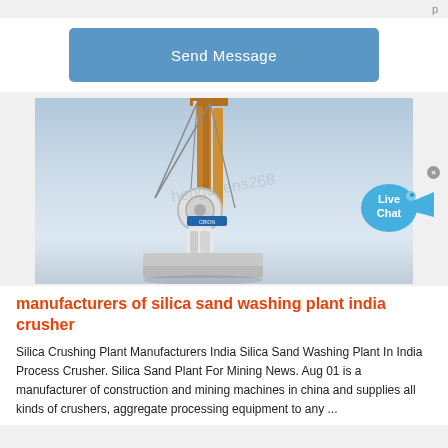Send Message
[Figure (photo): Industrial drilling/boring machine on a construction site with a tall orange mast/boom against a light blue-grey sky background. A watermark is visible in the center of the image.]
manufacturers of silica sand washing plant india crusher
Silica Crushing Plant Manufacturers India Silica Sand Washing Plant In India Process Crusher. Silica Sand Plant For Mining News. Aug 01 is a manufacturer of construction and mining machines in china and supplies all kinds of crushers, aggregate processing equipment to any ...